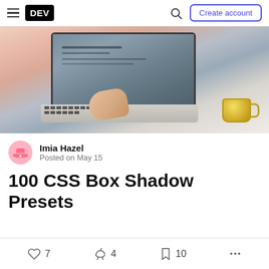DEV — Create account
[Figure (photo): Overhead view of a person in pink/peach clothing sitting on a bed, typing on a silver laptop with a latte coffee cup held in their right hand]
Imia Hazel
Posted on May 15
100 CSS Box Shadow Presets
♡ 7  🔥 4  🔖 10  ...